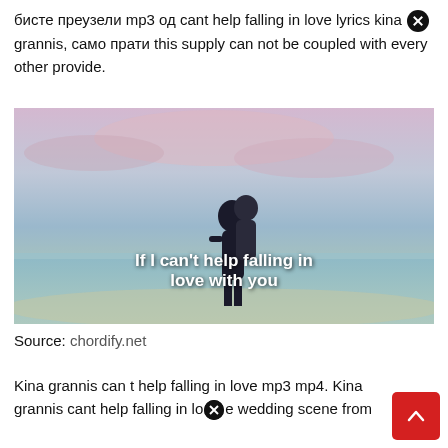бисте преузели mp3 од cant help falling in love lyrics kina grannis, само прати this supply can not be coupled with every other provide.
[Figure (photo): A couple kissing on a beach at sunset with pink and purple sky. Overlay text reads: If I can't help falling in love with you]
Source: chordify.net
Kina grannis can t help falling in love mp3 mp4. Kina grannis cant help falling in love wedding scene from